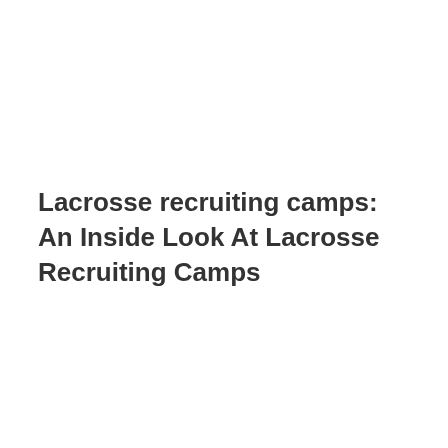Lacrosse recruiting camps: An Inside Look At Lacrosse Recruiting Camps